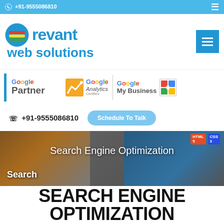☎ +91-9555086810
[Figure (logo): Revant Web Solutions logo with colorful circle icon and blue text]
[Figure (logo): Google Partner, Google Analytics Certified, and Google My Business logos]
☎ +91-9555086810
Schedule To Talk
[Figure (photo): Hero banner showing web development technology icons and devices with text: Search Engine Optimization and Search]
SEARCH ENGINE OPTIMIZATION